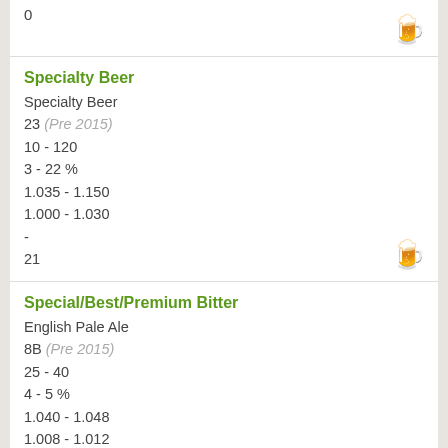0
Specialty Beer
Specialty Beer
23 (Pre 2015)
10 - 120
3 - 22 %
1.035 - 1.150
1.000 - 1.030
-
21
Special/Best/Premium Bitter
English Pale Ale
8B (Pre 2015)
25 - 40
4 - 5 %
1.040 - 1.048
1.008 - 1.012
2.2 - 2.6
11